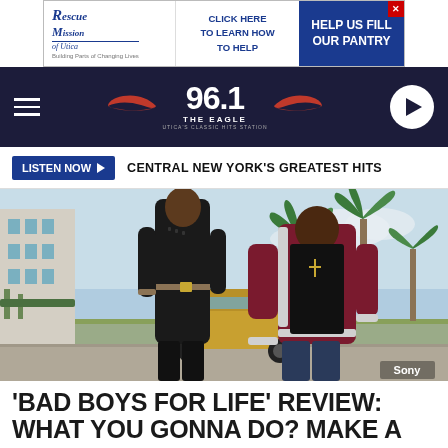[Figure (other): Rescue Mission of Utica advertisement banner with 'Click Here to Learn How to Help' and 'Help Us Fill Our Pantry' text on blue background]
[Figure (logo): 96.1 The Eagle radio station logo with red wings on dark navy header bar, hamburger menu on left, play button on right]
LISTEN NOW ▶  CENTRAL NEW YORK'S GREATEST HITS
[Figure (photo): Two men walking outdoors in Miami-style setting with palm trees. Left man wears black outfit, right man wears maroon varsity jacket. Gold car in background. Sony watermark in bottom right corner.]
Sony
'BAD BOYS FOR LIFE' REVIEW: WHAT YOU GONNA DO? MAKE A